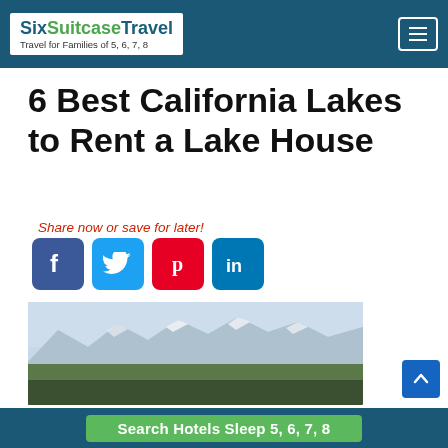SixSuitcaseTravel — Travel for Families of 5, 6, 7, 8
6 Best California Lakes to Rent a Lake House
Share now or save for later!
[Figure (photo): Landscape photo showing snow-capped mountains with forested foreground under a hazy blue sky — likely Lake Tahoe area]
Search Hotels Sleep 5, 6, 7, 8